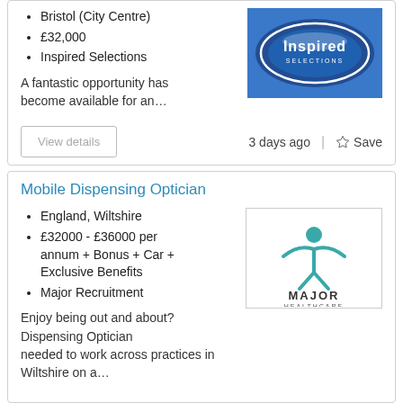Bristol (City Centre)
£32,000
Inspired Selections
[Figure (logo): Inspired Selections logo — blue oval badge with 'Inspired SELECTIONS' text on blue background]
A fantastic opportunity has become available for an…
3 days ago
Save
Mobile Dispensing Optician
England, Wiltshire
£32000 - £36000 per annum + Bonus + Car + Exclusive Benefits
Major Recruitment
[Figure (logo): Major Healthcare logo — teal figure with outstretched arms and 'MAJOR HEALTHCARE' text]
Enjoy being out and about? Dispensing Optician needed to work across practices in Wiltshire on a…